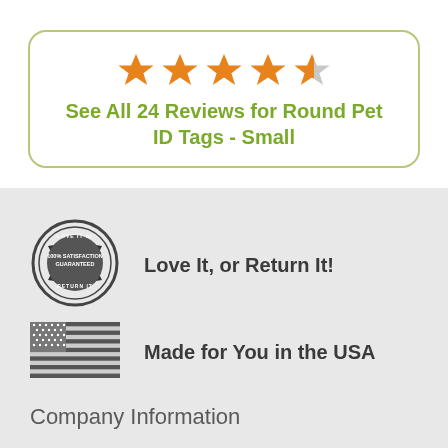[Figure (other): Star rating showing 4.5 out of 5 orange stars followed by a half/grey star]
See All 24 Reviews for Round Pet ID Tags - Small
[Figure (logo): Circular satisfaction guarantee stamp reading LOVE IT or RETURN IT, 100% SATISFACTION GUARANTEED]
Love It, or Return It!
[Figure (illustration): American flag illustration in dark/black style]
Made for You in the USA
Company Information